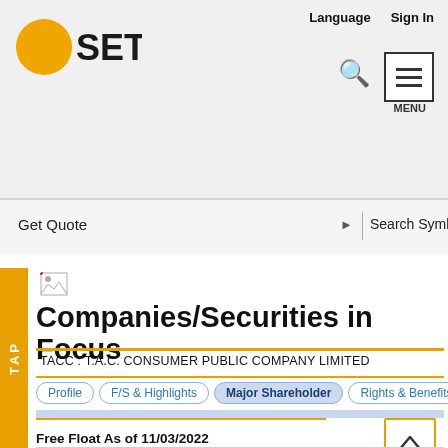SET – Companies/Securities in Focus – TACC : T.A.C. CONSUMER PUBLIC COMPANY LIMITED
Language   Sign In
Get Quote   Search Symbol
Companies/Securities in Focus
TACC : T.A.C. CONSUMER PUBLIC COMPANY LIMITED
Profile | F/S & Highlights | Major Shareholder | Rights & Benefits
Free Float As of 11/03/2022